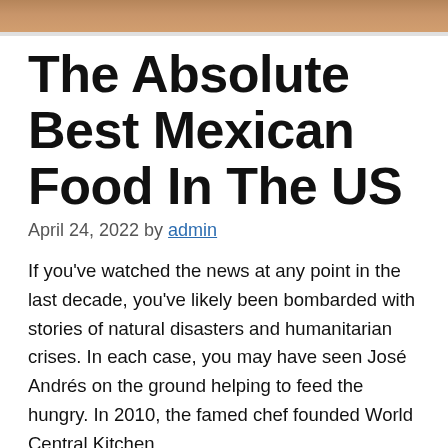[Figure (photo): Top portion of a food photo, cropped, showing warm brown/orange tones consistent with Mexican food imagery.]
The Absolute Best Mexican Food In The US
April 24, 2022 by admin
If you've watched the news at any point in the last decade, you've likely been bombarded with stories of natural disasters and humanitarian crises. In each case, you may have seen José Andrés on the ground helping to feed the hungry. In 2010, the famed chef founded World Central Kitchen,